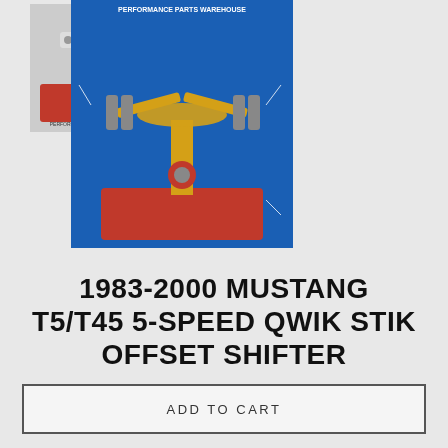[Figure (photo): Physical photo of a red-based shifter mechanism (QWIK STIK offset shifter) on a red platform, with text 'PERFORMANCE PARTS WAREHOUSE' visible]
[Figure (illustration): Technical illustration/diagram of the T5/T45 5-Speed QWIK STIK Offset Shifter showing labeled components on a blue background with a red base plate]
1983-2000 MUSTANG T5/T45 5-SPEED QWIK STIK OFFSET SHIFTER
RaceTuning
$295.00
ADD TO CART